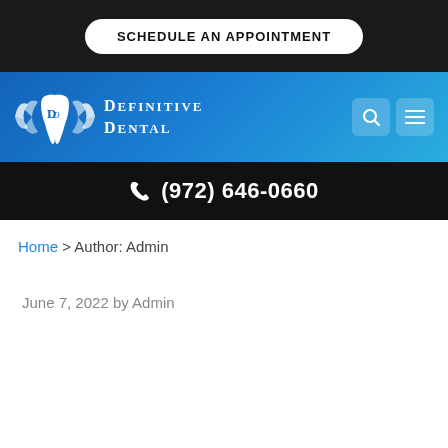SCHEDULE AN APPOINTMENT
[Figure (logo): Definitive Dental logo with winged tooth and text 'Definitive Dental']
(972) 646-0660
Home > Author: Admin
June 7, 2022 by Admin